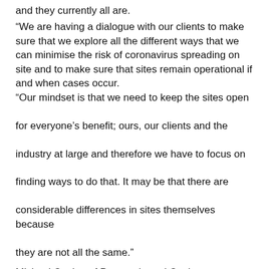and they currently all are.
“We are having a dialogue with our clients to make sure that we explore all the different ways that we can minimise the risk of coronavirus spreading on site and to make sure that sites remain operational if and when cases occur.
“Our mindset is that we need to keep the sites open for everyone’s benefit; ours, our clients and the industry at large and therefore we have to focus on finding ways to do that. It may be that there are considerable differences in sites themselves because they are not all the same.”
Michael Conlon of Preston-based Conlon Construction said that his firm was taking measures to reduce the spread of the virus, including encouraging those who could to work from home but expressed concerns for contractors within the supply chain.
“We are aware of the statement made by Build UK